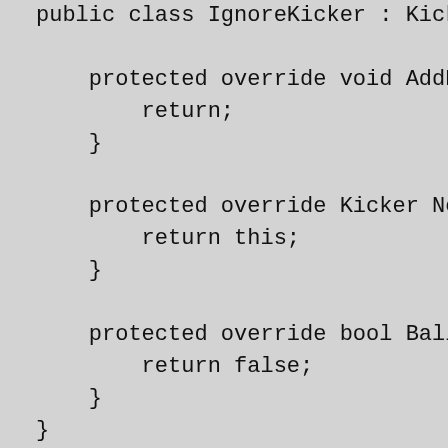[Figure (screenshot): A code snippet showing a partial C# class definition for IgnoreKicker extending Kicker, with three protected override methods: AddRoll (returns void, body is 'return;'), NextKic... (returns Kicker, body is 'return this;'), and BallConsu... (returns bool, body is 'return false;'), followed by closing braces for the methods and class.]